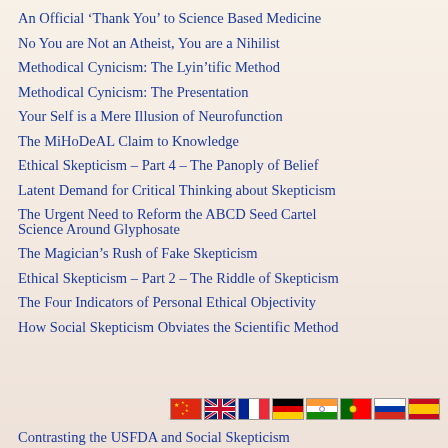An Official ‘Thank You’ to Science Based Medicine
No You are Not an Atheist, You are a Nihilist
Methodical Cynicism: The Lyin’tific Method
Methodical Cynicism: The Presentation
Your Self is a Mere Illusion of Neurofunction
The MiHoDeAL Claim to Knowledge
Ethical Skepticism – Part 4 – The Panoply of Belief
Latent Demand for Critical Thinking about Skepticism
The Urgent Need to Reform the ABCD Seed Cartel Science Around Glyphosate
The Magician’s Rush of Fake Skepticism
Ethical Skepticism – Part 2 – The Riddle of Skepticism
The Four Indicators of Personal Ethical Objectivity
How Social Skepticism Obviates the Scientific Method
Contrasting the USFDA and Social Skepticism